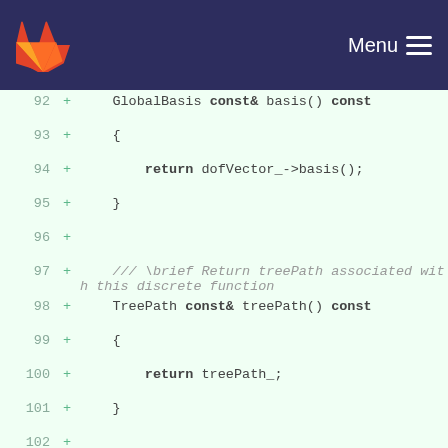GitLab Menu
[Figure (screenshot): Code diff view showing C++ source lines 92-107 with added lines (+) on green background. Lines show GlobalBasis basis(), treePath(), and coefficients() const member functions.]